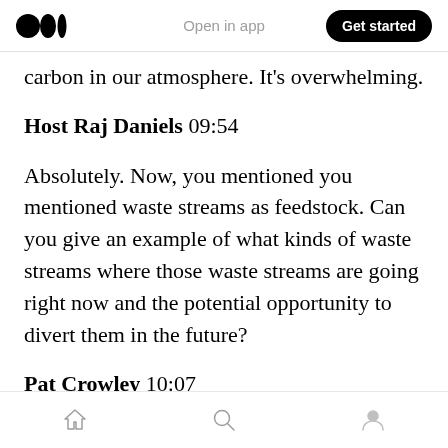Medium logo | Open in app | Get started
carbon in our atmosphere. It's overwhelming.
Host Raj Daniels 09:54
Absolutely. Now, you mentioned you mentioned waste streams as feedstock. Can you give an example of what kinds of waste streams where those waste streams are going right now and the potential opportunity to divert them in the future?
Pat Crowley 10:07
Sure. So if you look at, let's say beer production
Home | Search | Profile